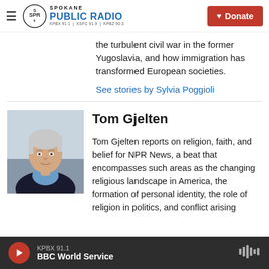Spokane Public Radio — KPBX 91.1 | KSFC 91.9 | KPBZ 90.3 — Donate
the turbulent civil war in the former Yugoslavia, and how immigration has transformed European societies.
See stories by Sylvia Poggioli
Tom Gjelten
[Figure (photo): Headshot of Tom Gjelten, older man with white/gray hair wearing a dark jacket over a light blue shirt, against a light blurred background]
Tom Gjelten reports on religion, faith, and belief for NPR News, a beat that encompasses such areas as the changing religious landscape in America, the formation of personal identity, the role of religion in politics, and conflict arising
KPBX 91.1 — BBC World Service